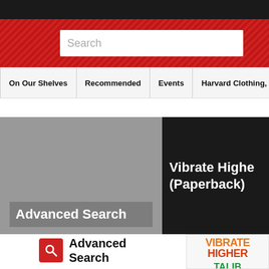Search
On Our Shelves | Recommended | Events | Harvard Clothing, Gif
[Figure (screenshot): Banner showing Advanced Search panel on left (gray background) and Vibrate Higher (Paperback) book promotion on right (dark background)]
Advanced Search
Click here to use our advanced search.
[Figure (illustration): Book cover for Vibrate Higher showing orange and red bold text 'VIBRATE HIGHER' and green text 'TALIB' with a small collage image]